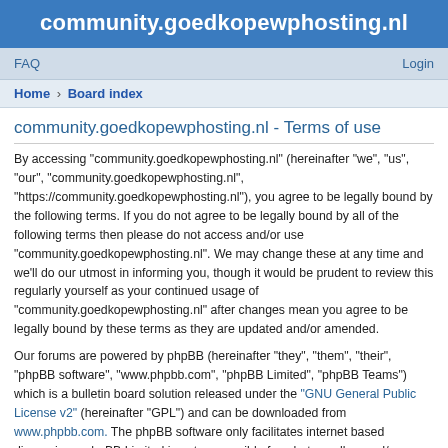community.goedkopewphosting.nl
FAQ   Login
Home › Board index
community.goedkopewphosting.nl - Terms of use
By accessing “community.goedkopewphosting.nl” (hereinafter “we”, “us”, “our”, “community.goedkopewphosting.nl”, “https://community.goedkopewphosting.nl”), you agree to be legally bound by the following terms. If you do not agree to be legally bound by all of the following terms then please do not access and/or use “community.goedkopewphosting.nl”. We may change these at any time and we’ll do our utmost in informing you, though it would be prudent to review this regularly yourself as your continued usage of “community.goedkopewphosting.nl” after changes mean you agree to be legally bound by these terms as they are updated and/or amended.
Our forums are powered by phpBB (hereinafter “they”, “them”, “their”, “phpBB software”, “www.phpbb.com”, “phpBB Limited”, “phpBB Teams”) which is a bulletin board solution released under the “GNU General Public License v2” (hereinafter “GPL”) and can be downloaded from www.phpbb.com. The phpBB software only facilitates internet based discussions; phpBB Limited is not responsible for what we allow and/or disallow as permissible content and/or conduct. For further information about phpBB, please see: